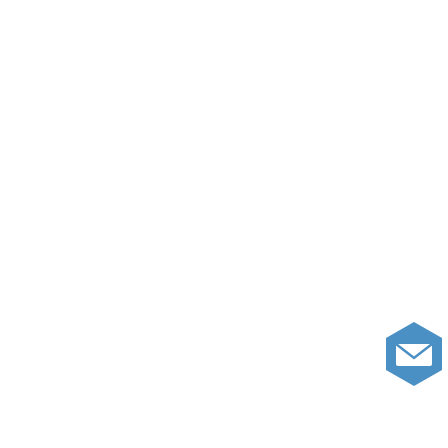rape.
Like
losingmyhomeinflorida, on February 6, 2017
so ronda scott, is that the smoking gun? wh default insurance is all paid up? they file a f relentless. why do they hate the american p
Like
Ronda Scott, on February 6, 2017 at 3:42 pm
The games will continue as long as they ca insurance from fraudulent foreclosure. We h cases would stop if there was no longer a m
STOP FDIC Stop Loss Agreement that was
Like
Hammertime, on February 6, 2017 at 3:36 pm
Yes, Losing this is more tha manufactured crisis. They ne stronger than Iceland. Trump and Wall St a